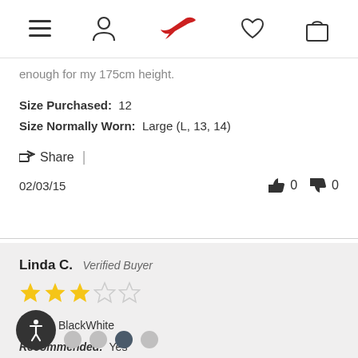[Navigation bar with menu, profile, bird logo, heart, and bag icons]
enough for my 175cm height.
Size Purchased:  12
Size Normally Worn:  Large (L, 13, 14)
Share |
02/03/15   👍 0   👎 0
Linda C.  Verified Buyer
★★★☆☆
Color:  BlackWhite
Recommended:  Yes
Shape:  Curvy Hips
t:  Tall (over 175cm or 5'9)